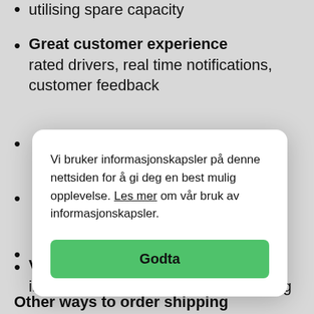utilising spare capacity
Great customer experience
rated drivers, real time notifications, customer feedback
[Figure (screenshot): Cookie consent modal dialog in Norwegian. Text: 'Vi bruker informasjonskapsler på denne nettsiden for å gi deg en best mulig opplevelse. Les mer om vår bruk av informasjonskapsler.' with a green 'Godta' (Accept) button.]
Value added services
in-home delivery, installation, recycling
Other ways to order shipping